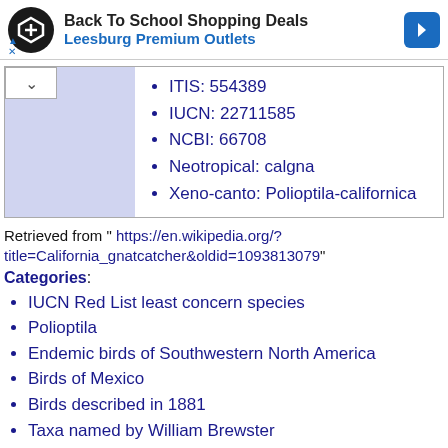[Figure (other): Ad banner for Back To School Shopping Deals at Leesburg Premium Outlets with store logo and navigation arrow]
ITIS: 554389
IUCN: 22711585
NCBI: 66708
Neotropical: calgna
Xeno-canto: Polioptila-californica
Retrieved from " https://en.wikipedia.org/?title=California_gnatcatcher&oldid=1093813079"
Categories:
IUCN Red List least concern species
Polioptila
Endemic birds of Southwestern North America
Birds of Mexico
Birds described in 1881
Taxa named by William Brewster